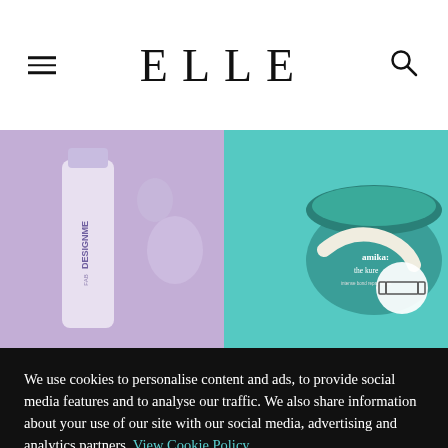ELLE
[Figure (photo): Split hero image: left side shows a DesignMe FAB haircare product bottle on lavender/purple background with water droplets; right side shows an amika: 'the kure' hair repair mask jar (teal/green) open with cream, on teal background, with a circular badge icon overlay.]
We use cookies to personalise content and ads, to provide social media features and to analyse our traffic. We also share information about your use of our site with our social media, advertising and analytics partners. View Cookie Policy.
ACCEPT COOKIES